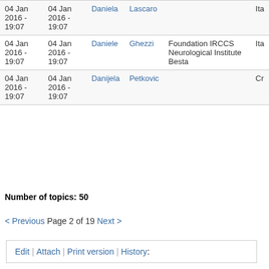| Date | Changed | First name | Last name | Organization | Country |
| --- | --- | --- | --- | --- | --- |
| 04 Jan 2016 - 19:07 | 04 Jan 2016 - 19:07 | Daniela | Lascaro |  | Ita |
| 04 Jan 2016 - 19:07 | 04 Jan 2016 - 19:07 | Daniele | Ghezzi | Foundation IRCCS Neurological Institute Besta | Ita |
| 04 Jan 2016 - 19:07 | 04 Jan 2016 - 19:07 | Danijela | Petkovic |  | Cr |
Number of topics: 50
< Previous Page 2 of 19 Next >
Edit | Attach | Print version | History: